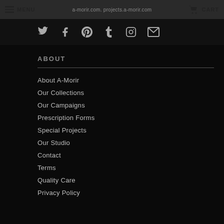MENU  a-morir.com. projects.a-morir.com  CART
[Figure (other): Social media icons: Twitter, Facebook, Pinterest, Tumblr, Instagram, Email]
ABOUT
About A-Morir
Our Collections
Our Campaigns
Prescription Forms
Special Projects
Our Studio
Contact
Terms
Quality Care
Privacy Policy